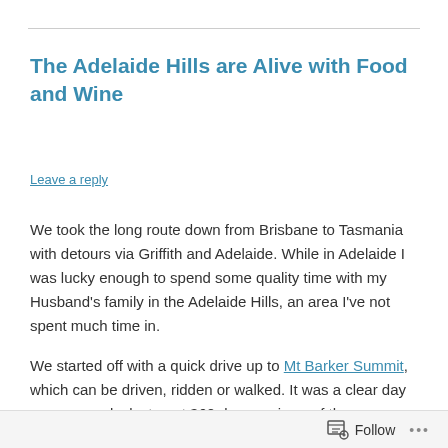The Adelaide Hills are Alive with Food and Wine
Leave a reply
We took the long route down from Brisbane to Tasmania with detours via Griffith and Adelaide. While in Adelaide I was lucky enough to spend some quality time with my Husband’s family in the Adelaide Hills, an area I’ve not spent much time in.
We started off with a quick drive up to Mt Barker Summit, which can be driven, ridden or walked. It was a clear day so we were lucky to get 360 degree views of the countryside.
Follow ...